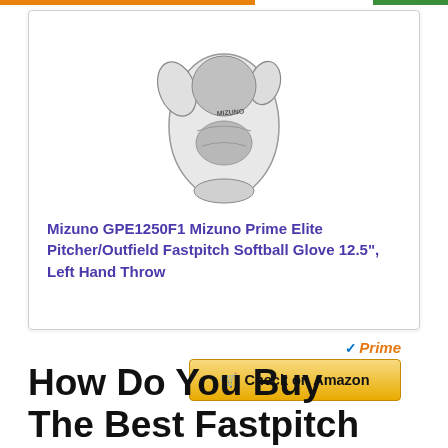[Figure (photo): White Mizuno softball glove (GPE1250F1) photographed on white background]
Mizuno GPE1250F1 Mizuno Prime Elite Pitcher/Outfield Fastpitch Softball Glove 12.5", Left Hand Throw
Prime
Check on Amazon
How Do You Buy The Best Fastpitch